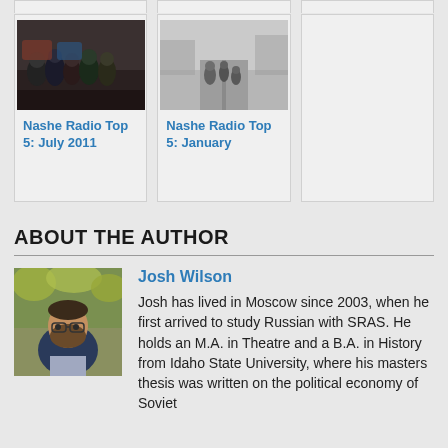[Figure (photo): Card showing a group photo (color) - Nashe Radio Top 5: July 2011]
Nashe Radio Top 5: July 2011
[Figure (photo): Card showing people walking on a road (black and white) - Nashe Radio Top 5: January]
Nashe Radio Top 5: January
ABOUT THE AUTHOR
[Figure (photo): Photo of Josh Wilson, a man with glasses and a beard outdoors among trees]
Josh Wilson
Josh has lived in Moscow since 2003, when he first arrived to study Russian with SRAS. He holds an M.A. in Theatre and a B.A. in History from Idaho State University, where his masters thesis was written on the political economy of Soviet